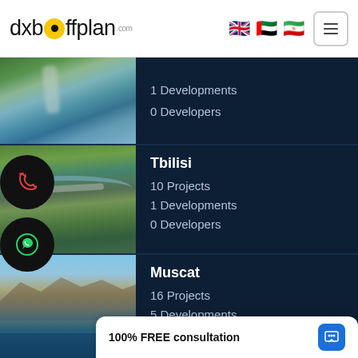dxboffplan.com — navigation header with language flags (UK, UAE, Iran) and menu button
[Figure (photo): Aerial photo of a waterfall and rocky landscape with green vegetation]
1 Developments
0 Developers
[Figure (photo): Aerial photo of Tbilisi city with river and modern bridge]
Tbilisi
10 Projects
1 Developments
0 Developers
[Figure (photo): Aerial photo of Muscat with rocky mountains and water]
Muscat
16 Projects
5 Developments
4 Developers
100% FREE consultation